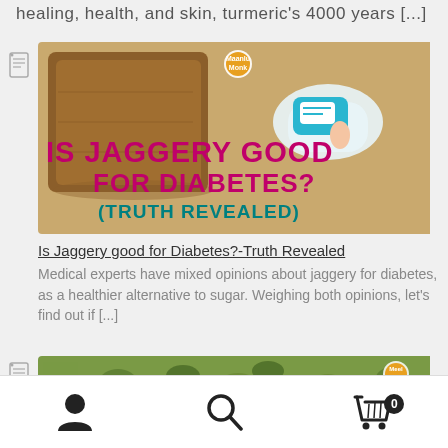healing, health, and skin, turmeric's 4000 years [...]
[Figure (photo): Image for article: Is Jaggery good for Diabetes?-Truth Revealed. Shows jaggery (brown sugar block) and a glucose meter illustration. Text overlay reads: IS JAGGERY GOOD FOR DIABETES? (TRUTH REVEALED). Logo: Maanlu Monk.]
Is Jaggery good for Diabetes?-Truth Revealed
Medical experts have mixed opinions about jaggery for diabetes, as a healthier alternative to sugar. Weighing both opinions, let's find out if [...]
[Figure (photo): Partial image showing green cardamom pods with a large brown number 7 on the left and a logo on the right.]
Navigation bar with user icon, search icon, and cart icon with badge 0